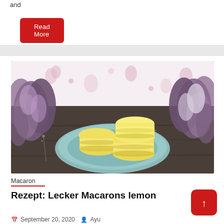and
Read More
[Figure (photo): Three yellow lemon macarons on a teal/blue plate, placed on a dark wooden surface, with purple and white flowers in the background and a floral wallpaper backdrop]
Macaron
Rezept: Lecker Macarons lemon
September 20, 2020   Ayu